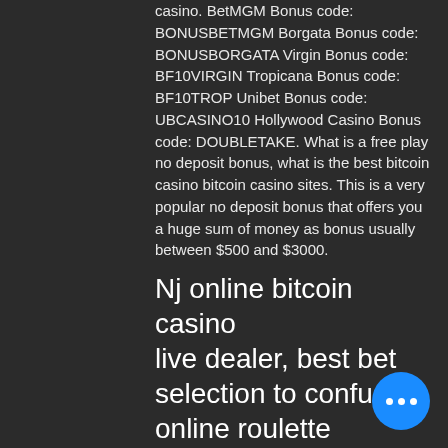casino. BetMGM Bonus code: BONUSBETMGM Borgata Bonus code: BONUSBORGATA Virgin Bonus code: BF10VIRGIN Tropicana Bonus code: BF10TROP Unibet Bonus code: UBCASINO10 Hollywood Casino Bonus code: DOUBLETAKE. What is a free play no deposit bonus, what is the best bitcoin casino bitcoin casino sites. This is a very popular no deposit bonus that offers you a huge sum of money as bonus usually between $500 and $3000.
Nj online bitcoin casino live dealer, best bet selection to confuse online roulette
In addition to the many loyalty bo. Most online casinos offer no deposit bonus codes which vary in value from as low as $15 as high as $100. Desert Nights Casino No
[Figure (other): Blue circular chat button with three white dots]